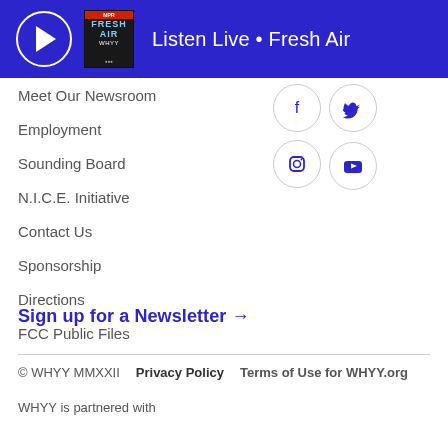[Figure (screenshot): Blue header bar with play button circle, Fresh Air show thumbnail, and 'Listen Live • Fresh Air' text in white]
Meet Our Newsroom
Employment
Sounding Board
N.I.C.E. Initiative
Contact Us
Sponsorship
Directions
FCC Public Files
[Figure (infographic): Social media icons: Facebook, Twitter, Instagram (top row), YouTube (bottom row), each in circular bordered buttons]
Sign up for a Newsletter →
© WHYY MMXXII   Privacy Policy   Terms of Use for WHYY.org
WHYY is partnered with